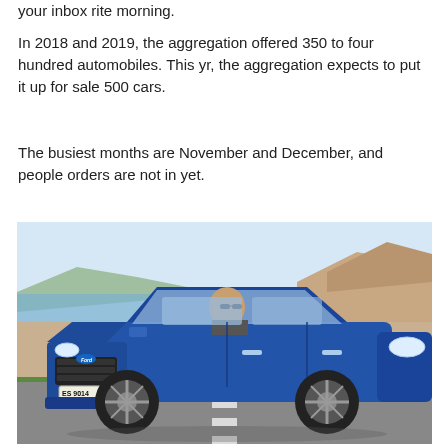your inbox rite morning.
In 2018 and 2019, the aggregation offered 350 to four hundred automobiles. This yr, the aggregation expects to put it up for sale 500 cars.
The busiest months are November and December, and people orders are not in yet.
[Figure (photo): A blue Ford EcoSport SUV with license plate ES 9014 driving on a road, with coastal hills and water visible in the background.]